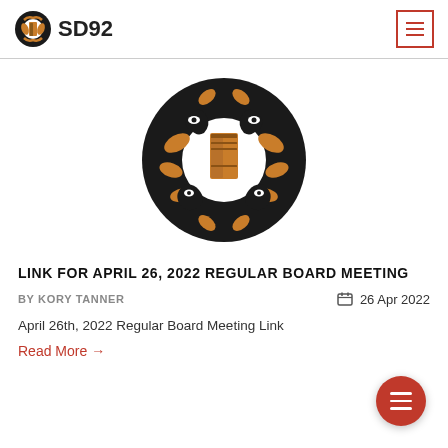SD92
[Figure (logo): SD92 school district circular Indigenous art logo — black and amber/orange Northwest Coast art style totem design in a circle]
LINK FOR APRIL 26, 2022 REGULAR BOARD MEETING
BY KORY TANNER    26 Apr 2022
April 26th, 2022 Regular Board Meeting Link
Read More →